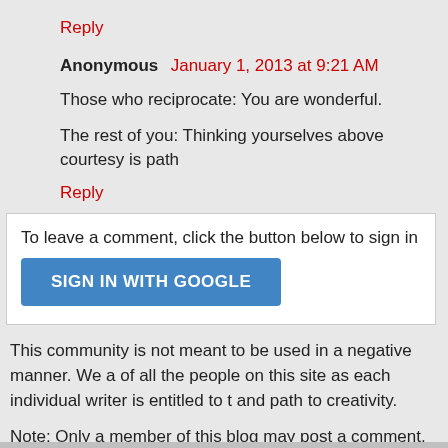Reply
Anonymous  January 1, 2013 at 9:21 AM
Those who reciprocate: You are wonderful.
The rest of you: Thinking yourselves above courtesy is path…
Reply
To leave a comment, click the button below to sign in with…
SIGN IN WITH GOOGLE
This community is not meant to be used in a negative manner. We a… of all the people on this site as each individual writer is entitled to t… and path to creativity.
Note: Only a member of this blog may post a comment.